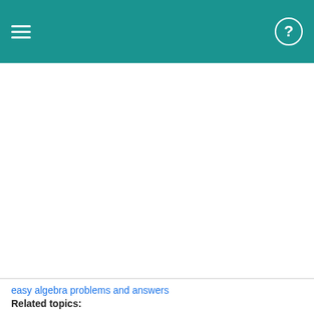≡  ?
easy algebra problems and answers
Related topics: